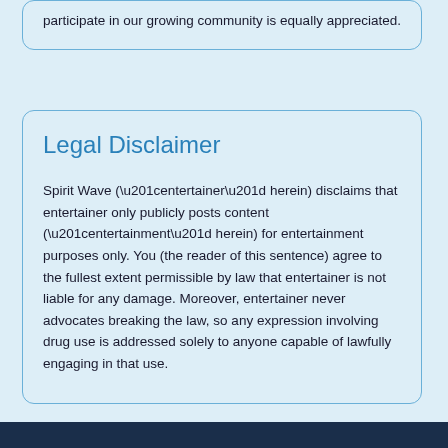participate in our growing community is equally appreciated.
Legal Disclaimer
Spirit Wave (“entertainer” herein) disclaims that entertainer only publicly posts content (“entertainment” herein) for entertainment purposes only. You (the reader of this sentence) agree to the fullest extent permissible by law that entertainer is not liable for any damage. Moreover, entertainer never advocates breaking the law, so any expression involving drug use is addressed solely to anyone capable of lawfully engaging in that use.